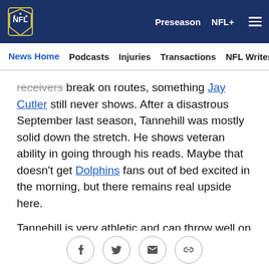NFL | Preseason  NFL+  Menu
News Home  Podcasts  Injuries  Transactions  NFL Writers  Se
receivers break on routes, something Jay Cutler still never shows. After a disastrous September last season, Tannehill was mostly solid down the stretch. He shows veteran ability in going through his reads. Maybe that doesn't get Dolphins fans out of bed excited in the morning, but there remains real upside here.
Tannehill is very athletic and can throw well on the move running to either side. He was a wide receiver at Texas A&M and Gase figures to use his movement ability more than the Dolphins did a season ago.
This reads Dalton: This article is not an argument for